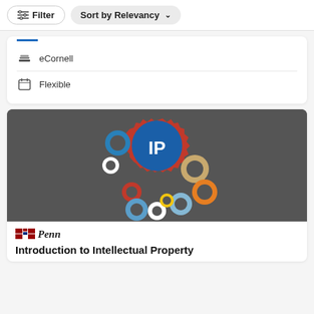Filter | Sort by Relevancy
[Figure (screenshot): Blue underline bar divider]
eCornell
Flexible
[Figure (illustration): Course thumbnail showing colorful interlocking gears with a large blue circle labeled IP in the center, on a dark gray background]
Penn — Introduction to Intellectual Property